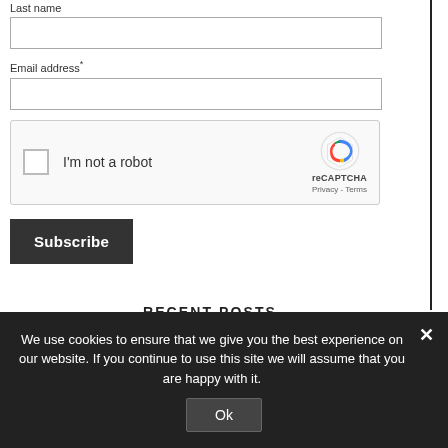Last name
Email address*
[Figure (screenshot): reCAPTCHA widget with checkbox labeled 'I'm not a robot' and reCAPTCHA logo with Privacy - Terms links]
Subscribe
RECENT POSTS
We use cookies to ensure that we give you the best experience on our website. If you continue to use this site we will assume that you are happy with it.
Ok